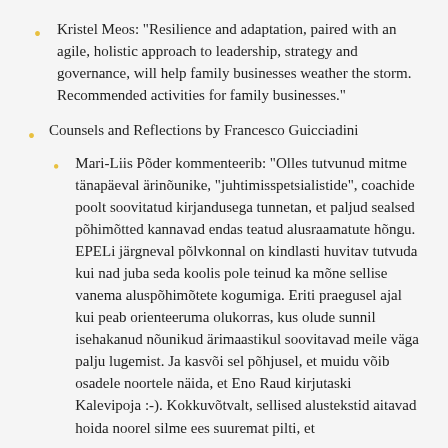Kristel Meos: "Resilience and adaptation, paired with an agile, holistic approach to leadership, strategy and governance, will help family businesses weather the storm. Recommended activities for family businesses."
Counsels and Reflections by Francesco Guicciadini
Mari-Liis Põder kommenteerib: "Olles tutvunud mitme tänapäeval ärinõunike, "juhtimisspetsialistide", coachide poolt soovitatud kirjandusega tunnetan, et paljud sealsed põhimõtted kannavad endas teatud alusraamatute hõngu. EPELi järgneval põlvkonnal on kindlasti huvitav tutvuda kui nad juba seda koolis pole teinud ka mõne sellise vanema aluspõhimõtete kogumiga. Eriti praegusel ajal kui peab orienteeruma olukorras, kus olude sunnil isehakanud nõunikud ärimaastikul soovitavad meile väga palju lugemist. Ja kasvõi sel põhjusel, et muidu võib osadele noortele näida, et Eno Raud kirjutaski Kalevipoja :-). Kokkuvõtvalt, sellised alustekstid aitavad hoida noorel silme ees suuremat pilti, et